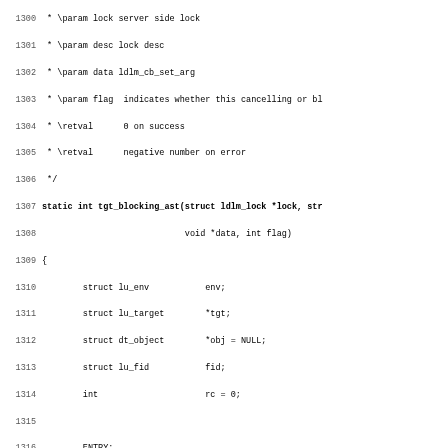[Figure (screenshot): Source code listing (C language) showing lines 1300-1331 of a file, including function tgt_blocking_ast definition with struct declarations and conditional logic.]